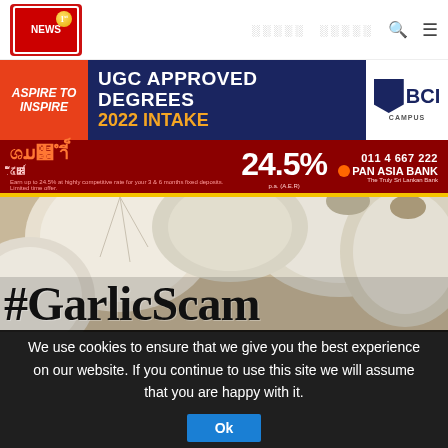[Figure (logo): News 1st logo - red background with NEWS 1st text and golden ball]
░░░░░   ░░░░░  🔍 ☰
[Figure (photo): BCI Campus advertisement banner - UGC Approved Degrees 2022 Intake]
[Figure (photo): Pan Asia Bank advertisement - 24.5% interest rate banner]
[Figure (photo): Close-up photo of garlic bulbs with #GarlicScam text overlay]
We use cookies to ensure that we give you the best experience on our website. If you continue to use this site we will assume that you are happy with it.
Ok